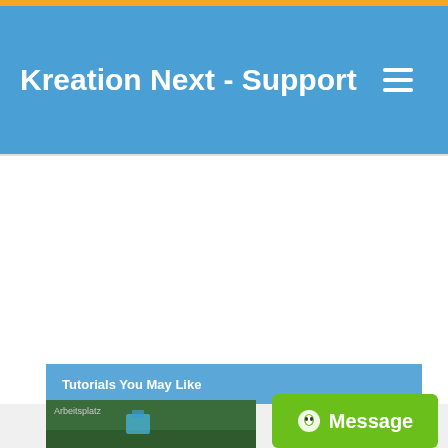Kreation Next - Support
[Figure (screenshot): White content area, likely an embedded advertisement or blank space below the header]
Tutorials You May Like
Arbeitsplatz
[Figure (screenshot): Thumbnail showing a grassy desktop background with an icon, possibly Windows desktop]
[Figure (other): Green Message button with alien/chat icon]